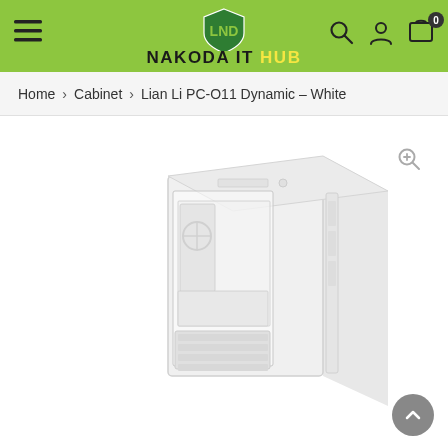NAKODA IT HUB — navigation header with logo, hamburger menu, search, account, and cart icons
Home > Cabinet > Lian Li PC-O11 Dynamic – White
[Figure (photo): Product photo of a white Lian Li PC-O11 Dynamic mid-tower PC case with tempered glass side panel, shown in a light/faded presentation against white background. A zoom/magnify icon appears in the upper right corner of the image area.]